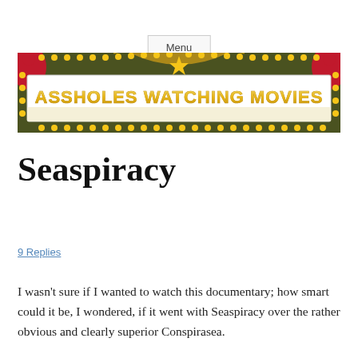Menu
[Figure (illustration): Movie marquee banner reading 'ASSHOLES WATCHING MOVIES' in gold glittery letters on a white background with red curtains, gold decorations, a star, and rows of yellow lightbulbs along the border.]
Seaspiracy
9 Replies
I wasn't sure if I wanted to watch this documentary; how smart could it be, I wondered, if it went with Seaspiracy over the rather obvious and clearly superior Conspirasea.